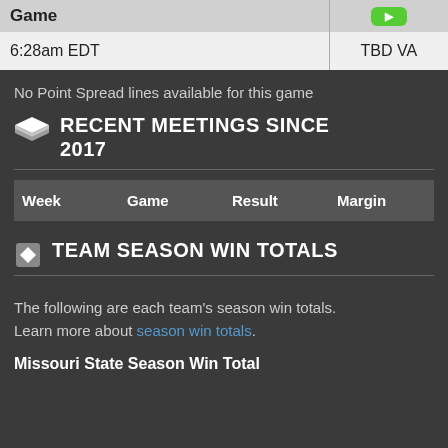| Game |  |
| --- | --- |
| 6:28am EDT | TBD VA |
No Point Spread lines available for this game
RECENT MEETINGS SINCE 2017
| Week | Game | Result | Margin |
| --- | --- | --- | --- |
TEAM SEASON WIN TOTALS
The following are each team's season win totals. Learn more about season win totals.
Missouri State Season Win Total